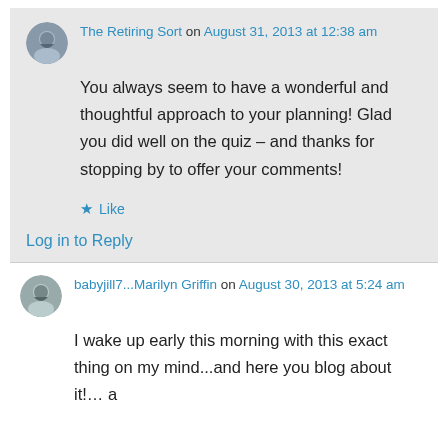The Retiring Sort on August 31, 2013 at 12:38 am
You always seem to have a wonderful and thoughtful approach to your planning! Glad you did well on the quiz – and thanks for stopping by to offer your comments!
★ Like
Log in to Reply
babyjill7...Marilyn Griffin on August 30, 2013 at 5:24 am
I wake up early this morning with this exact thing on my mind...and here you blog about it!… a